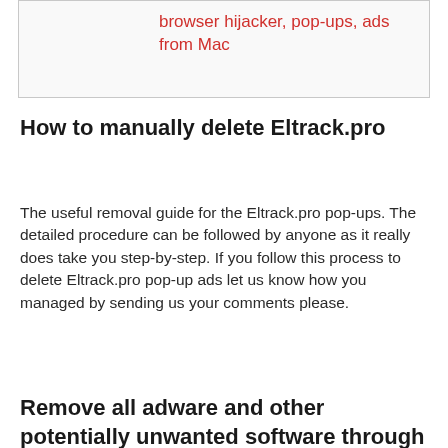browser hijacker, pop-ups, ads from Mac
How to manually delete Eltrack.pro
The useful removal guide for the Eltrack.pro pop-ups. The detailed procedure can be followed by anyone as it really does take you step-by-step. If you follow this process to delete Eltrack.pro pop-up ads let us know how you managed by sending us your comments please.
Remove all adware and other potentially unwanted software through the Windows Control Panel
The process of adware removal is generally the same across all versions of Windows OS from 10 to XP. To start with,